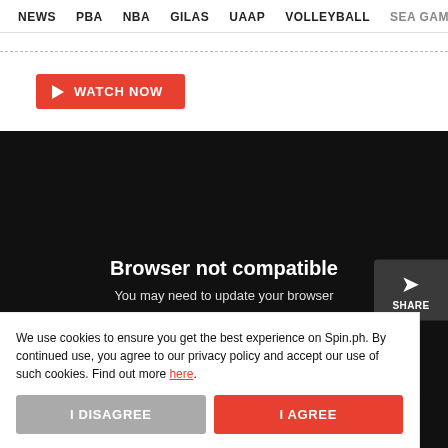NEWS  PBA  NBA  GILAS  UAAP  VOLLEYBALL  SEA GAMES
WATCH NOW
[Figure (screenshot): Black video player area showing 'Browser not compatible' message with report ID link and share button]
Browser not compatible
You may need to update your browser
Report ID: 1gc17lm5d2d16sokf5k
We use cookies to ensure you get the best experience on Spin.ph. By continued use, you agree to our privacy policy and accept our use of such cookies. Find out more here.
I DISAGREE
I AGREE